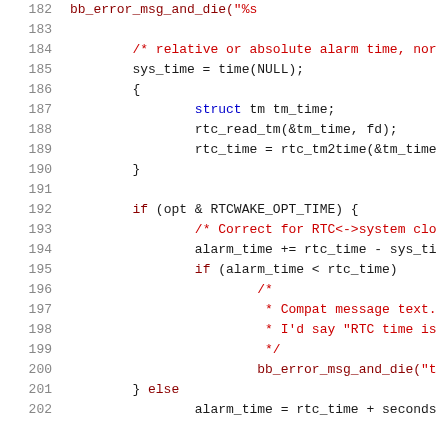[Figure (screenshot): Source code listing in C, lines 182-202, showing rtcwake alarm time logic with syntax highlighting. Line numbers in gray on left, keywords and strings in red/green/blue, normal code in black on white background.]